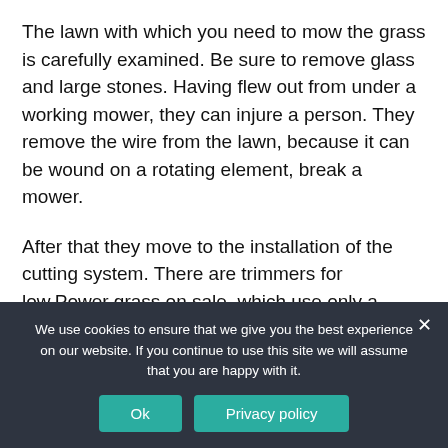The lawn with which you need to mow the grass is carefully examined. Be sure to remove glass and large stones. Having flew out from under a working mower, they can injure a person. They remove the wire from the lawn, because it can be wound on a rotating element, break a mower.
After that they move to the installation of the cutting system. There are trimmers for low.Power grass on sale, which use only a fishing line for a trimmer. It is designed for
We use cookies to ensure that we give you the best experience on our website. If you continue to use this site we will assume that you are happy with it.